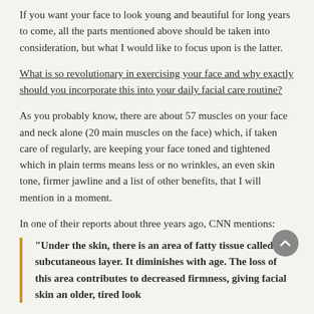If you want your face to look young and beautiful for long years to come, all the parts mentioned above should be taken into consideration, but what I would like to focus upon is the latter.
What is so revolutionary in exercising your face and why exactly should you incorporate this into your daily facial care routine?
As you probably know, there are about 57 muscles on your face and neck alone (20 main muscles on the face) which, if taken care of regularly, are keeping your face toned and tightened which in plain terms means less or no wrinkles, an even skin tone, firmer jawline and a list of other benefits, that I will mention in a moment.
In one of their reports about three years ago, CNN mentions:
"Under the skin, there is an area of fatty tissue called the subcutaneous layer. It diminishes with age. The loss of this area contributes to decreased firmness, giving facial skin an older, tired look